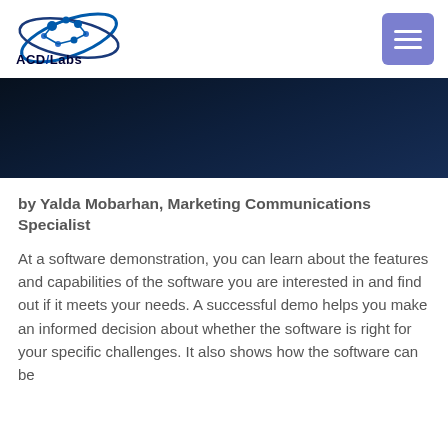[Figure (logo): ACD/Labs logo with molecular graphic and text]
[Figure (infographic): Hamburger menu button (three horizontal bars) on purple/blue background]
[Figure (illustration): Dark navy blue banner/hero image area]
by Yalda Mobarhan, Marketing Communications Specialist
At a software demonstration, you can learn about the features and capabilities of the software you are interested in and find out if it meets your needs. A successful demo helps you make an informed decision about whether the software is right for your specific challenges. It also shows how the software can be